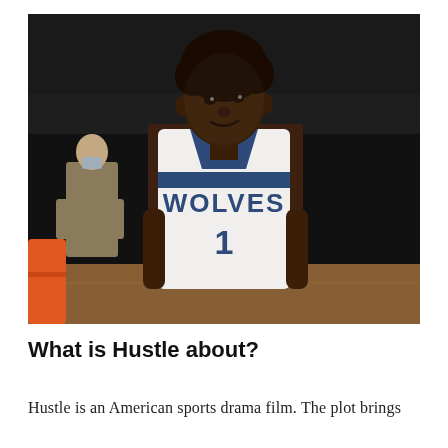[Figure (photo): A tall young Black basketball player wearing a Minnesota Timberwolves white jersey with number 1 and 'WOLVES' printed on it, looking to his right. In the background is a masked person in tan clothing and an orange object at bottom left. The arena is dark behind the player.]
What is Hustle about?
Hustle is an American sports drama film. The plot brings